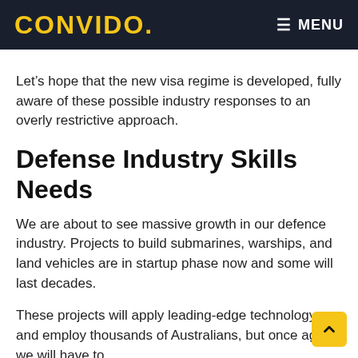CONVIDO  MENU
Let's hope that the new visa regime is developed, fully aware of these possible industry responses to an overly restrictive approach.
Defense Industry Skills Needs
We are about to see massive growth in our defence industry. Projects to build submarines, warships, and land vehicles are in startup phase now and some will last decades.
These projects will apply leading-edge technology and employ thousands of Australians, but once again, we will have to